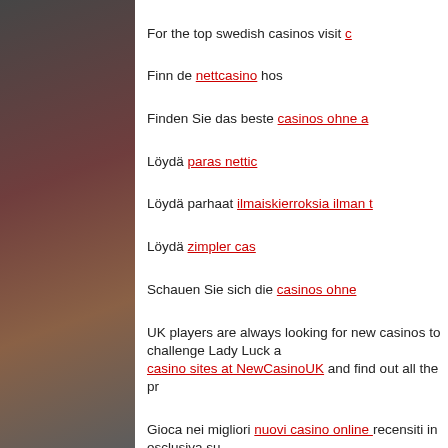For the top swedish casinos visit c[link]
Finn de nettcasino hos[link]
Finden Sie das beste casinos ohne a[link]
Löydä paras nettic[link]
Löydä parhaat ilmaiskierroksia ilman t[link]
Löydä zimpler cas[link]
Schauen Sie sich die casinos ohne[link]
UK players are always looking for new casinos to challenge Lady Luck a[link] casino sites at NewCasinoUK and find out all the pr[link]
Gioca nei migliori nuovi casino online recensiti in esclusiva su[link]
Find top online gambling sites on Casinovibez.co[link]
Check out the list of all online casinos for Fi[link]